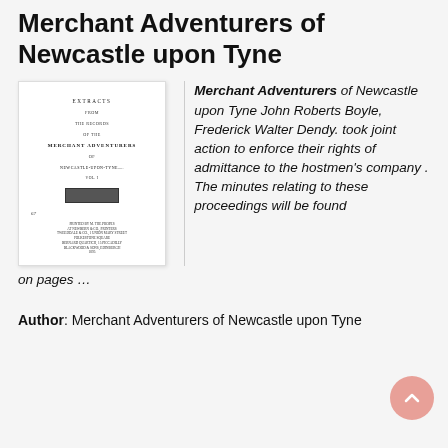Merchant Adventurers of Newcastle upon Tyne
[Figure (photo): Scanned cover of a historical book titled 'Extracts from the Records of the Merchant Adventurers of Newcastle upon Tyne', showing old typography, a seal/emblem, and publisher information.]
Merchant Adventurers of Newcastle upon Tyne John Roberts Boyle, Frederick Walter Dendy. took joint action to enforce their rights of admittance to the hostmen's company . The minutes relating to these proceedings will be found on pages …
Author: Merchant Adventurers of Newcastle upon Tyne